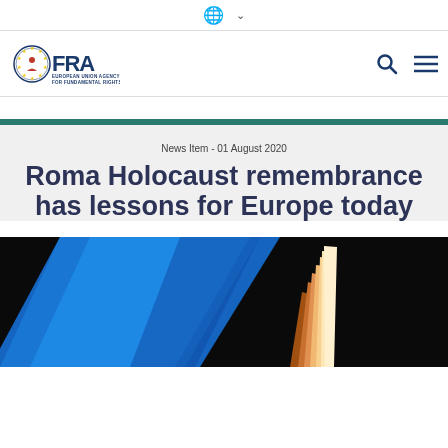🌐 ∨
[Figure (logo): FRA – European Union Agency for Fundamental Rights logo with EU stars emblem]
News Item - 01 August 2020
Roma Holocaust remembrance has lessons for Europe today
[Figure (photo): Dark background with blue diagonal element (EU flag) and a warm light beam or flame on the right side]